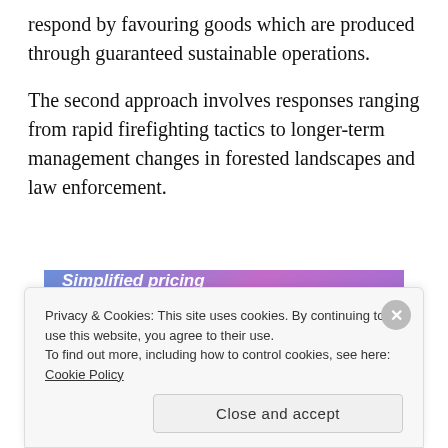respond by favouring goods which are produced through guaranteed sustainable operations.
The second approach involves responses ranging from rapid firefighting tactics to longer-term management changes in forested landscapes and law enforcement.
[Figure (other): WordPress.com advertisement banner: 'Simplified pricing for everything you need.' with WordPress.com logo on gradient blue-purple background.]
REPORT THIS AD
Government bodies which are enforcing the fire laws
Privacy & Cookies: This site uses cookies. By continuing to use this website, you agree to their use. To find out more, including how to control cookies, see here: Cookie Policy
Close and accept